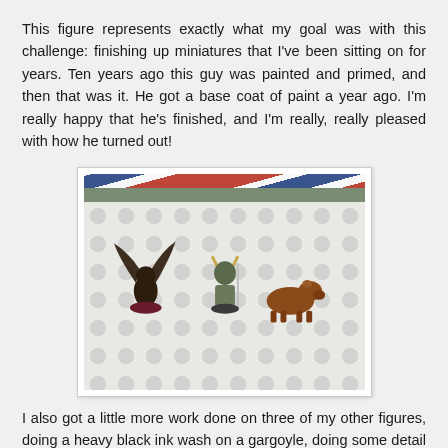This figure represents exactly what my goal was with this challenge: finishing up miniatures that I've been sitting on for years. Ten years ago this guy was painted and primed, and then that was it. He got a base coat of paint a year ago. I'm really happy that he's finished, and I'm really, really pleased with how he turned out!
[Figure (photo): Photo of three painted miniature figurines on a patterned white table surface. Left figure is a dark winged creature, center is an armored soldier with horns, right is a brown animal (possibly a cow or bear). A red, white, and blue striped cloth is visible in the background along with a gray shelf.]
I also got a little more work done on three of my other figures, doing a heavy black ink wash on a gargoyle, doing some detail work on a bunny soldier, and a base coat on my